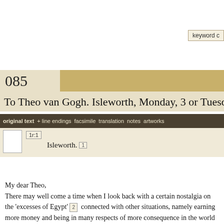keyword c
085
To Theo van Gogh. Isleworth, Monday, 3 or Tuesday, 4
original text  + line endings  facsimile  translation  notes  artworks
1r:1
Isleworth. 1
My dear Theo,
There may well come a time when I look back with a certain nostalgia on the ‘excesses of Egypt’ 2  connected with other situations, namely earning more money and being in many respects of more consequence in the world – this I foresee. There is however ‘bread enough and to spare’ 3  in the houses I’ll be visiting as I continue down the road I’ve taken, but not money to spare.
    And yet I so clearly see light in the distance, and if that light di...